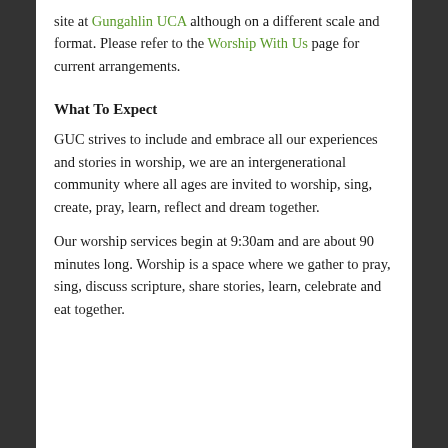site at Gungahlin UCA although on a different scale and format. Please refer to the Worship With Us page for current arrangements.
What To Expect
GUC strives to include and embrace all our experiences and stories in worship, we are an intergenerational community where all ages are invited to worship, sing, create, pray, learn, reflect and dream together.
Our worship services begin at 9:30am and are about 90 minutes long. Worship is a space where we gather to pray, sing, discuss scripture, share stories, learn, celebrate and eat together.